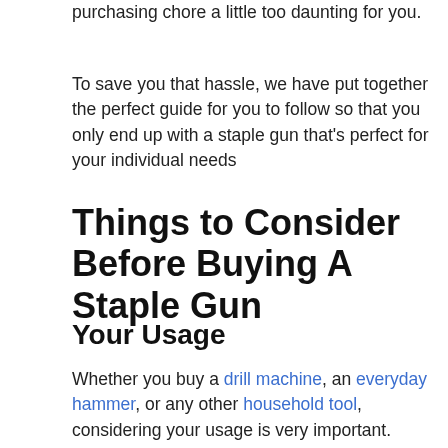purchasing chore a little too daunting for you.
To save you that hassle, we have put together the perfect guide for you to follow so that you only end up with a staple gun that's perfect for your individual needs
Things to Consider Before Buying A Staple Gun
Your Usage
Whether you buy a drill machine, an everyday hammer, or any other household tool, considering your usage is very important. Depending on how you want to employ a staple gun and how frequently you will be using it determines which gun type will best fit...